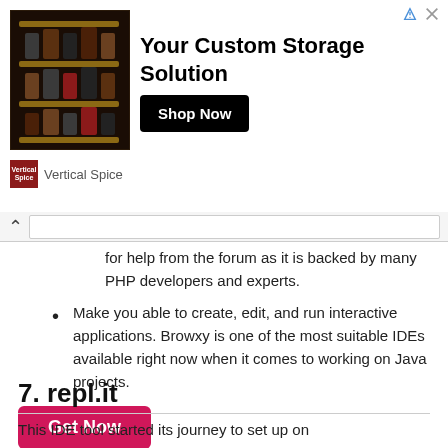[Figure (infographic): Advertisement banner: 'Your Custom Storage Solution' with image of spice rack shelves and 'Shop Now' button from Vertical Spice brand]
for help from the forum as it is backed by many PHP developers and experts.
Make you able to create, edit, and run interactive applications. Browxy is one of the most suitable IDEs available right now when it comes to working on Java projects.
Get Now
7. repl.it
This IDE tool started its journey to set up on